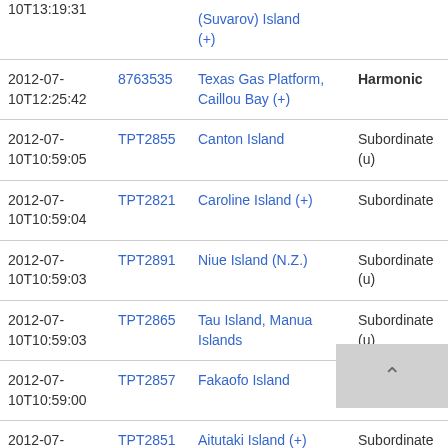| Date | ID | Name | Type | Code |
| --- | --- | --- | --- | --- |
| 10T13:19:31 | (Suvarov) Island (+) |  |  |  |
| 2012-07-10T12:25:42 | 8763535 | Texas Gas Platform, Caillou Bay (+) | Harmonic |  |
| 2012-07-10T10:59:05 | TPT2855 | Canton Island | Subordinate (u) | 17706 (u) |
| 2012-07-10T10:59:04 | TPT2821 | Caroline Island (+) | Subordinate | 17706 |
| 2012-07-10T10:59:03 | TPT2891 | Niue Island (N.Z.) | Subordinate (u) | 17706 (u) |
| 2012-07-10T10:59:03 | TPT2865 | Tau Island, Manua Islands | Subordinate (u) | 17706 (u) |
| 2012-07-10T10:59:00 | TPT2857 | Fakaofo Island | Subordinate (u) | 17706 (u) |
| 2012-07-10T10:58:51 | TPT2851 | Aitutaki Island (+) | Subordinate | 17706 |